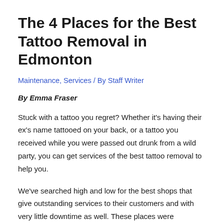The 4 Places for the Best Tattoo Removal in Edmonton
Maintenance, Services / By Staff Writer
By Emma Fraser
Stuck with a tattoo you regret? Whether it's having their ex's name tattooed on your back, or a tattoo you received while you were passed out drunk from a wild party, you can get services of the best tattoo removal to help you.
We've searched high and low for the best shops that give outstanding services to their customers and with very little downtime as well. These places were suggested by many locals who had to get rid of their tats.